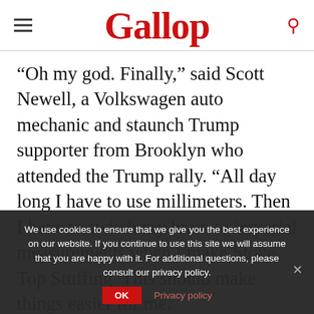Gallop
“Oh my god. Finally,” said Scott Newell, a Volkswagen auto mechanic and staunch Trump supporter from Brooklyn who attended the Trump rally. “All day long I have to use millimeters. Then I have to switch my brain to imperial measurements when I make Stove Top Stuffing. This should make things easier for me.”
We use cookies to ensure that we give you the best experience on our website. If you continue to use this site we will assume that you are happy with it. For additional questions, please consult our privacy policy.
Although President Trump didn’t outline his plan